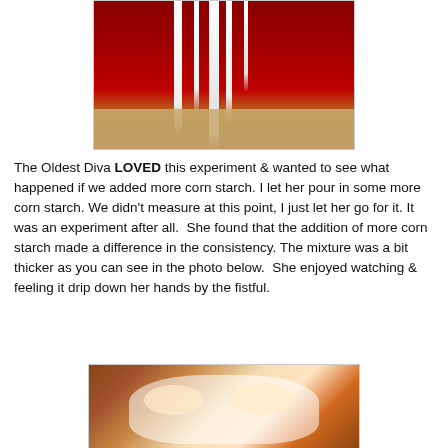[Figure (photo): Photo of white liquid (corn starch mixture) dripping down in strands against a red background, falling into a grainy mixture below.]
The Oldest Diva LOVED this experiment & wanted to see what happened if we added more corn starch. I let her pour in some more corn starch. We didn't measure at this point, I just let her go for it. It was an experiment after all.  She found that the addition of more corn starch made a difference in the consistency. The mixture was a bit thicker as you can see in the photo below.  She enjoyed watching & feeling it drip down her hands by the fistful.
[Figure (photo): Close-up photo of two child fists covered in white corn starch mixture, held together against a background.]